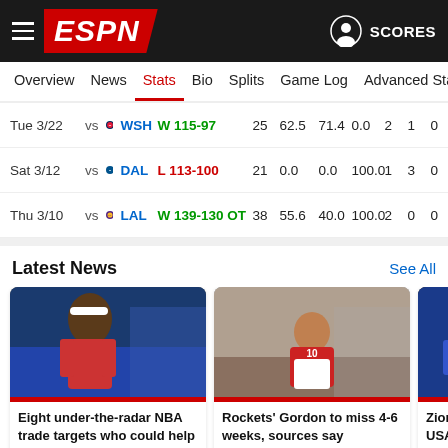ESPN - Overview | News | Stats | Bio | Splits | Game Log | Advanced Stats | SCORES
| Date | Opp | Result | Min | FG% | 3P% | FT% | Reb | Ast | Stl |
| --- | --- | --- | --- | --- | --- | --- | --- | --- | --- |
| Tue 3/22 | vs WSH | W 115-97 | 25 | 62.5 | 71.4 | 0.0 | 2 | 1 | 0 |
| Sat 3/12 | vs DAL | L 113-100 | 21 | 0.0 | 0.0 | 100.0 | 1 | 3 | 0 |
| Thu 3/10 | vs LAL | W 139-130 OT | 38 | 55.6 | 40.0 | 100.0 | 2 | 0 | 0 |
Latest News
See All
[Figure (photo): Basketball player in blue and red uniform with headband]
Eight under-the-radar NBA trade targets who could help a contender right now
ESPN+ • ... • Kevin P...
[Figure (photo): Rockets player sitting on court injured]
Rockets' Gordon to miss 4-6 weeks, sources say
1Y • Adrian Wojnarowski
[Figure (photo): Basketball player in blue and gold uniform]
Zion added to USA's prospect roster
1Y • Brian Windh...